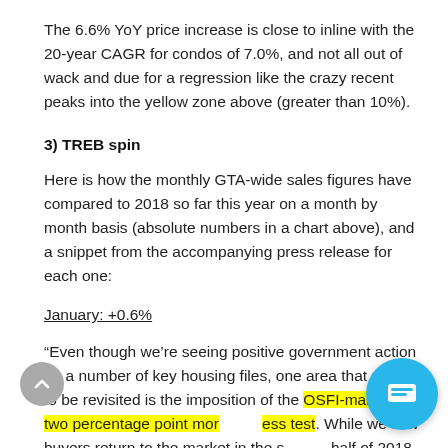The 6.6% YoY price increase is close to inline with the 20-year CAGR for condos of 7.0%, and not all out of wack and due for a regression like the crazy recent peaks into the yellow zone above (greater than 10%).
3) TREB spin
Here is how the monthly GTA-wide sales figures have compared to 2018 so far this year on a month by month basis (absolute numbers in a chart above), and a snippet from the accompanying press release for each one:
January: +0.6%
“Even though we’re seeing positive government action on a number of key housing files, one area that needs to be revisited is the imposition of the OSFI-mandated two percentage point mortgage stress test. While we saw buyers return to the market in the second half of 2018, we have to have an honest discussion on whether or not